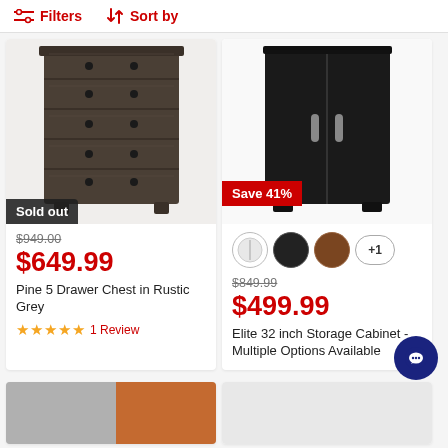Filters  Sort by
[Figure (photo): Pine 5 Drawer Chest in Rustic Grey with Sold out badge]
$949.00
$649.99
Pine 5 Drawer Chest in Rustic Grey
★★★★★ 1 Review
[Figure (photo): Elite 32 inch Storage Cabinet in Black with Save 41% badge and color swatches]
$849.99
$499.99
Elite 32 inch Storage Cabinet - Multiple Options Available
[Figure (photo): Partially visible product image bottom left]
[Figure (photo): Partially visible product image bottom right]